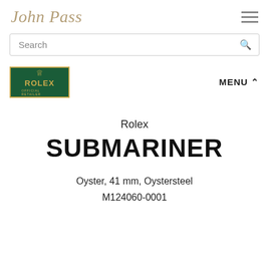John Pass
[Figure (screenshot): Search bar with magnifying glass icon]
[Figure (logo): Rolex Official Retailer green and gold badge logo]
MENU ^
Rolex
SUBMARINER
Oyster, 41 mm, Oystersteel
M124060-0001